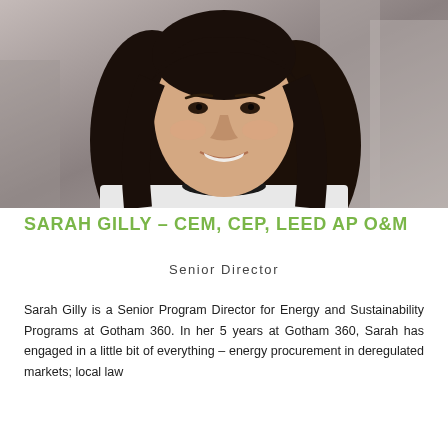[Figure (photo): Professional headshot of Sarah Gilly, a woman with dark shoulder-length hair, smiling, wearing a white sleeveless top with black trim, photographed against a blurred urban background.]
SARAH GILLY - CEM, CEP, LEED AP O&M
Senior Director
Sarah Gilly is a Senior Program Director for Energy and Sustainability Programs at Gotham 360. In her 5 years at Gotham 360, Sarah has engaged in a little bit of everything – energy procurement in deregulated markets; local law